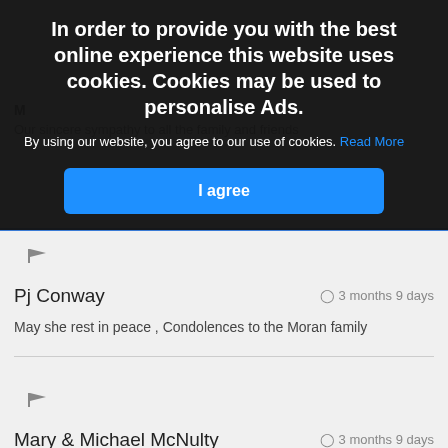In order to provide you with the best online experience this website uses cookies. Cookies may be used to personalise Ads.
By using our website, you agree to our use of cookies. Read More
I agree
Pj Conway · 3 months 9 days
May she rest in peace , Condolences to the Moran family
Mary & Michael McNulty · 3 months 9 days
Our sincere condolences to all the family. May she rest in peace.